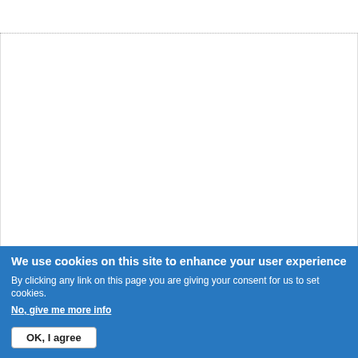[Figure (other): Empty white box area with dotted border lines at top of page]
There are tons and tons of video-tutorials about scale models, dispersed a few are truly worth to watch. We select the best and only the best vide detailing, painting, weathering, dioramas and more.

We just finished to tag all the videos in our archives, and the first results tutorials about the weathering in scale models: all what you need to know
We use cookies on this site to enhance your user experience
By clicking any link on this page you are giving your consent for us to set cookies.
No, give me more info
OK, I agree